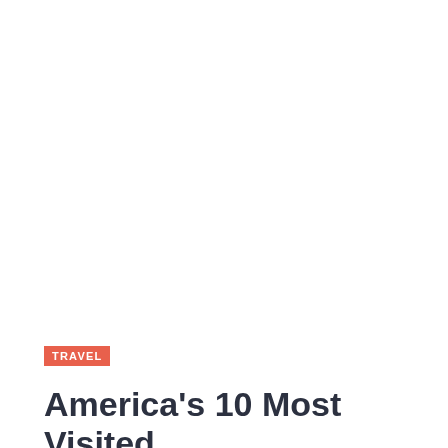TRAVEL
America's 10 Most Visited